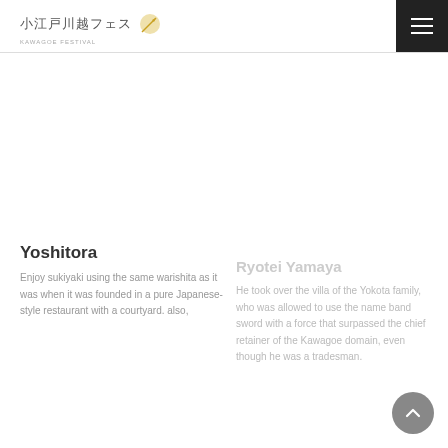小江戸川越フェス
Yoshitora
Enjoy sukiyaki using the same warishita as it was when it was founded in a pure Japanese-style restaurant with a courtyard. also,
Ryotei Yamaya
He took over the villa of the Yokota family, who was allowed to use the name band sword with a force that surpassed the chief retainer of the Kawagoe domain, even though he was a tradesman.